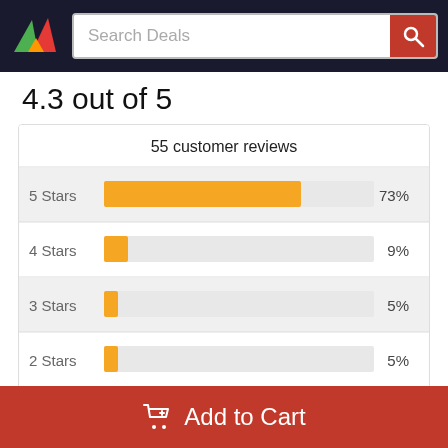[Figure (logo): Colorful triangle logo with green, red, and orange triangles]
Search Deals
4.3 out of 5
[Figure (bar-chart): 55 customer reviews]
Write a Review
Add to Cart